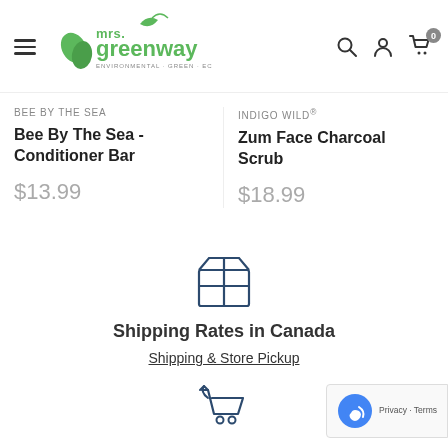[Figure (logo): Mrs. Greenway logo with green leaves and text 'mrs. greenway - environmental green eco products']
BEE BY THE SEA
Bee By The Sea - Conditioner Bar
$13.99
INDIGO WILD®
Zum Face Charcoal Scrub
$18.99
[Figure (illustration): Box/package shipping icon outline]
Shipping Rates in Canada
Shipping & Store Pickup
[Figure (illustration): Shopping cart with return arrow icon]